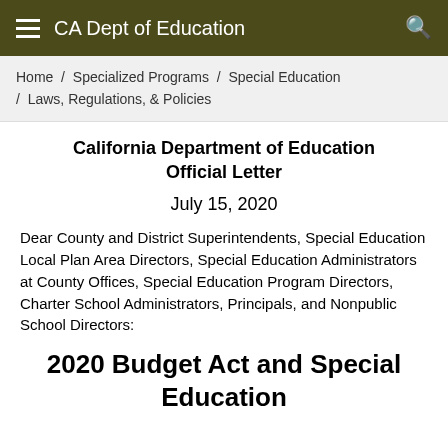CA Dept of Education
Home / Specialized Programs / Special Education / Laws, Regulations, & Policies
California Department of Education Official Letter
July 15, 2020
Dear County and District Superintendents, Special Education Local Plan Area Directors, Special Education Administrators at County Offices, Special Education Program Directors, Charter School Administrators, Principals, and Nonpublic School Directors:
2020 Budget Act and Special Education